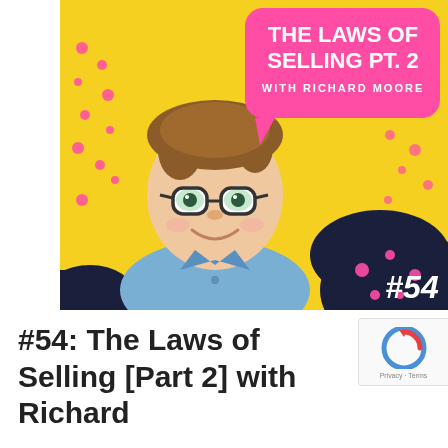[Figure (illustration): Podcast episode cover art showing a cartoon illustration of a smiling man with glasses and brown hair wearing a light blue shirt, on a yellow background with pink polka dots and a dark navy blob in the bottom right corner. A pink speech bubble in the upper right reads 'THE LAWS OF SELLING PT. 2 WITH RICHARD MOORE'. Episode number #54 is shown in white italic text on the dark blob.]
#54: The Laws of Selling [Part 2] with Richard